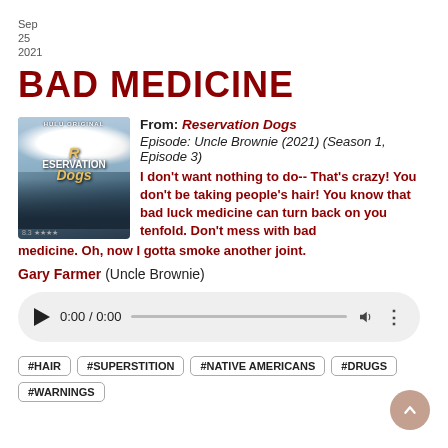Sep
25
2021
BAD MEDICINE
[Figure (photo): Movie poster for Reservation Dogs TV show — group of young people standing against a cloudy sky backdrop]
From: Reservation Dogs
Episode: Uncle Brownie (2021) (Season 1, Episode 3)
I don't want nothing to do-- That's crazy! You don't be taking people's hair! You know that bad luck medicine can turn back on you tenfold. Don't mess with bad medicine. Oh, now I gotta smoke another joint.
Gary Farmer (Uncle Brownie)
[Figure (other): Audio player widget showing 0:00 / 0:00 with play button, progress bar, volume and more icons]
#HAIR
#SUPERSTITION
#NATIVE AMERICANS
#DRUGS
#WARNINGS